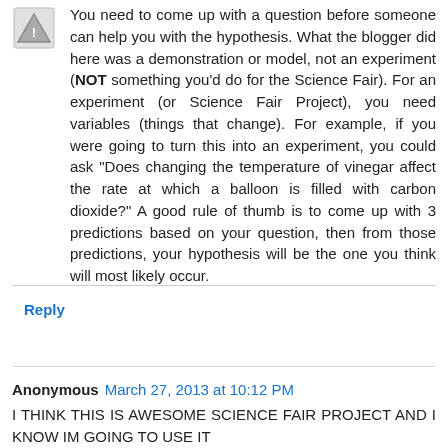You need to come up with a question before someone can help you with the hypothesis. What the blogger did here was a demonstration or model, not an experiment (NOT something you'd do for the Science Fair). For an experiment (or Science Fair Project), you need variables (things that change). For example, if you were going to turn this into an experiment, you could ask "Does changing the temperature of vinegar affect the rate at which a balloon is filled with carbon dioxide?" A good rule of thumb is to come up with 3 predictions based on your question, then from those predictions, your hypothesis will be the one you think will most likely occur.
Reply
Anonymous March 27, 2013 at 10:12 PM
I THINK THIS IS AWESOME SCIENCE FAIR PROJECT AND I KNOW IM GOING TO USE IT